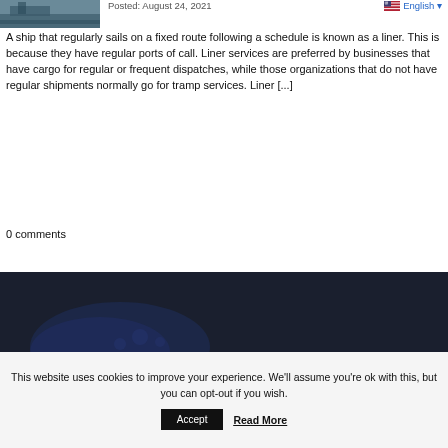[Figure (photo): Partial view of a ship at the top left of the page]
Posted: August 24, 2021
English
A ship that regularly sails on a fixed route following a schedule is known as a liner. This is because they have regular ports of call. Liner services are preferred by businesses that have cargo for regular or frequent dispatches, while those organizations that do not have regular shipments normally go for tramp services. Liner [...]
0 comments
[Figure (photo): Dark background image, possibly underwater or night scene with faint blue shapes]
This website uses cookies to improve your experience. We'll assume you're ok with this, but you can opt-out if you wish.
Accept
Read More